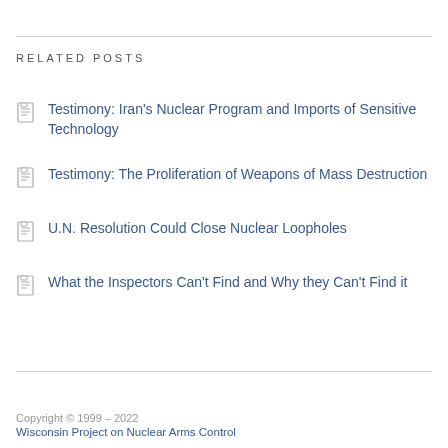RELATED POSTS
Testimony: Iran's Nuclear Program and Imports of Sensitive Technology
Testimony: The Proliferation of Weapons of Mass Destruction
U.N. Resolution Could Close Nuclear Loopholes
What the Inspectors Can't Find and Why they Can't Find it
Copyright © 1999 – 2022
Wisconsin Project on Nuclear Arms Control